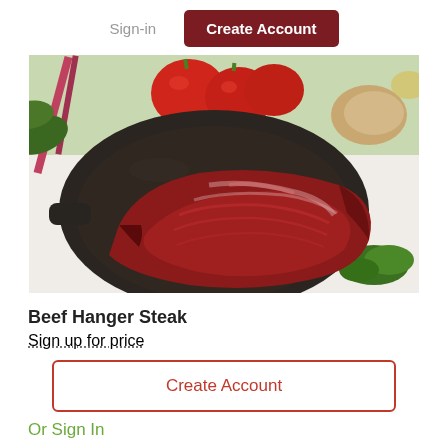Sign-in  Create Account
[Figure (photo): Raw beef hanger steak in a cast iron skillet, surrounded by fresh vegetables including tomatoes, greens, herbs, and a potato in the background on a white surface.]
Beef Hanger Steak
Sign up for price
Create Account
Or Sign In